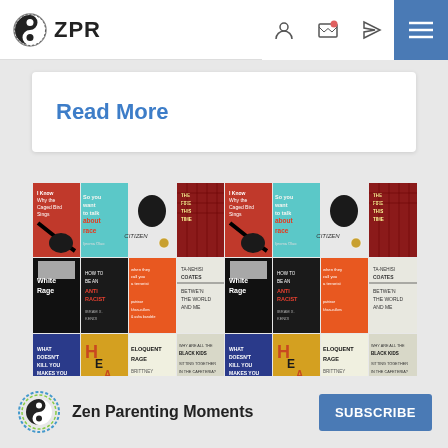ZPR
Read More
[Figure (photo): Grid of book covers including 'I Know Why the Caged Bird Sings', 'So you want to talk about race', 'Citizen', 'The Fire This Time', 'White Rage', 'How to Be an Antiracist', 'When They Call You a Terrorist', 'Between the World and Me' by Ta-Nehisi Coates, 'What Doesn't Kill You Makes You', 'Heavy', 'Eloquent Rage' by Brittney Cooper, 'Why Are All the Black Kids Sitting Together in the Cafeteria'. Books are repeated in a tiled pattern.]
Zen Parenting Moments
SUBSCRIBE